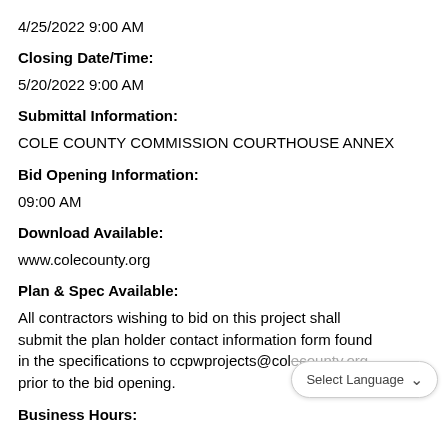4/25/2022 9:00 AM
Closing Date/Time:
5/20/2022 9:00 AM
Submittal Information:
COLE COUNTY COMMISSION COURTHOUSE ANNEX
Bid Opening Information:
09:00 AM
Download Available:
www.colecounty.org
Plan & Spec Available:
All contractors wishing to bid on this project shall submit the plan holder contact information form found in the specifications to ccpwprojects@colecounty.org prior to the bid opening.
Business Hours: